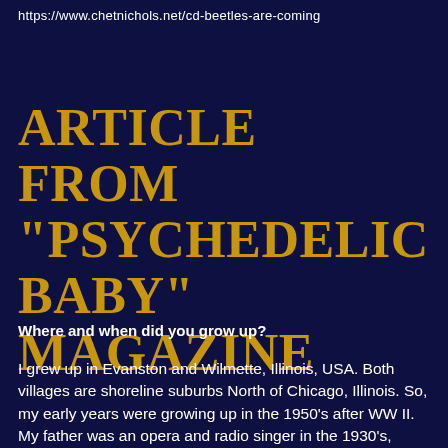https://www.chetnichols.net/cd-beetles-are-coming
ARTICLE FROM "PSYCHEDELIC BABY" MAGAZINE
Where and when did you grow up?
I grew up in Evanston and Wilmette, Illinois, USA. Both villages are shoreline suburbs North of Chicago, Illinois. So, my early years were growing up in the 1950's after WW II. My father was an opera and radio singer in the 1930's, 1940's and